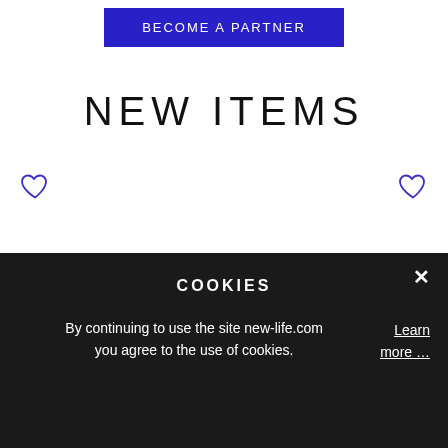[Figure (other): Blue button with text BECOME A PARTNER]
NEW ITEMS
[Figure (other): Two heart (favorite/wishlist) icons in a row, outlined style, blue/indigo color]
COOKIES
By continuing to use the site new-life.com you agree to the use of cookies.
Learn more …